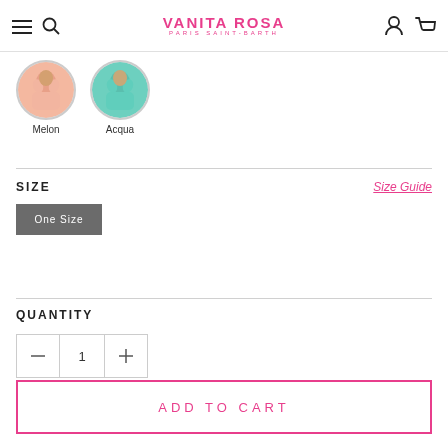VANITA ROSA PARIS SAINT-BARTH
[Figure (photo): Two circular color swatch images: left shows a pink/melon colored top (labeled Melon), right shows an aqua/teal colored top (labeled Acqua)]
SIZE
Size Guide
One Size
QUANTITY
1
ADD TO CART